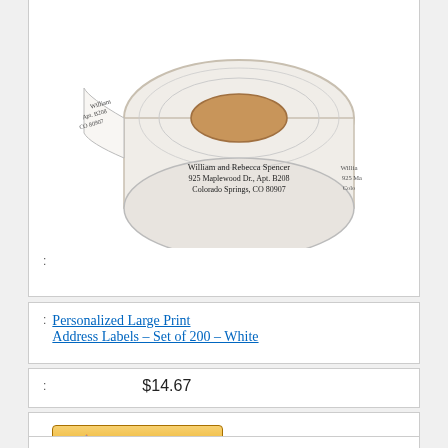[Figure (photo): A roll of personalized large print address labels showing 'William and Rebecca Spencer, 925 Maplewood Dr., Apt. B208, Colorado Springs, CO 80907' printed on white label tape wound on a cardboard core.]
:
: Personalized Large Print Address Labels – Set of 200 – White
: $14.67
: Buy On Amazon